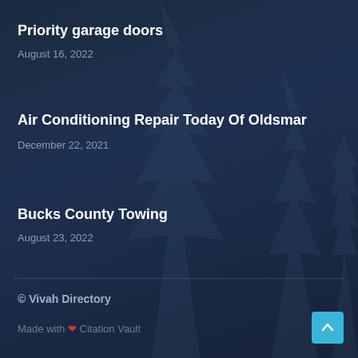Priority garage doors
August 16, 2022
Air Conditioning Repair Today Of Oldsmar
December 22, 2021
Bucks County Towing
August 23, 2022
© Vivah Directory
Made with ❤ Citation Vault